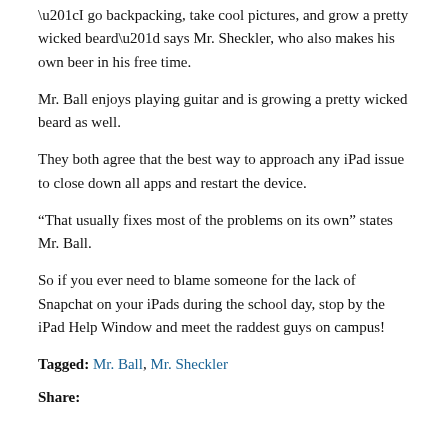“I go backpacking, take cool pictures, and grow a pretty wicked beard” says Mr. Sheckler, who also makes his own beer in his free time.
Mr. Ball enjoys playing guitar and is growing a pretty wicked beard as well.
They both agree that the best way to approach any iPad issue to close down all apps and restart the device.
“That usually fixes most of the problems on its own” states Mr. Ball.
So if you ever need to blame someone for the lack of Snapchat on your iPads during the school day, stop by the iPad Help Window and meet the raddest guys on campus!
Tagged: Mr. Ball, Mr. Sheckler
Share: